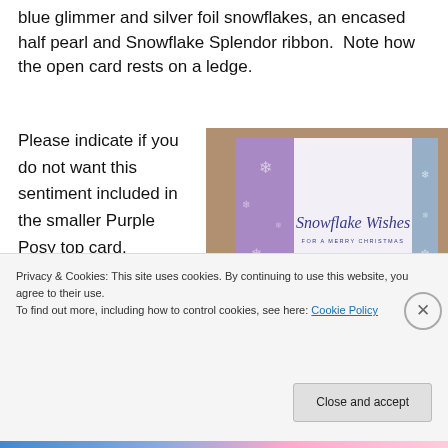blue glimmer and silver foil snowflakes, an encased half pearl and Snowflake Splendor ribbon.  Note how the open card rests on a ledge.
Please indicate if you do not want this sentiment included in the smaller Purple Posy top card.
[Figure (photo): Photo of a greeting card with 'Snowflake Wishes FOR A MERRY CHRISTMAS' text, with purple and blue snowflake patterned side panels and white center panel]
Privacy & Cookies: This site uses cookies. By continuing to use this website, you agree to their use.
To find out more, including how to control cookies, see here: Cookie Policy